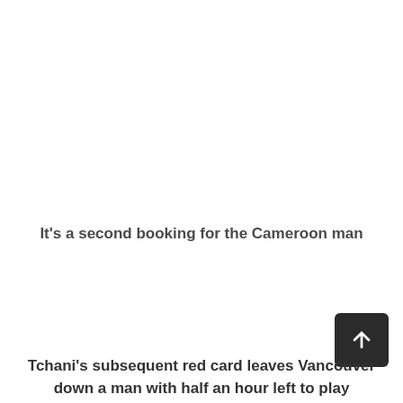It's a second booking for the Cameroon man
Tchani's subsequent red card leaves Vancouver down a man with half an hour left to play